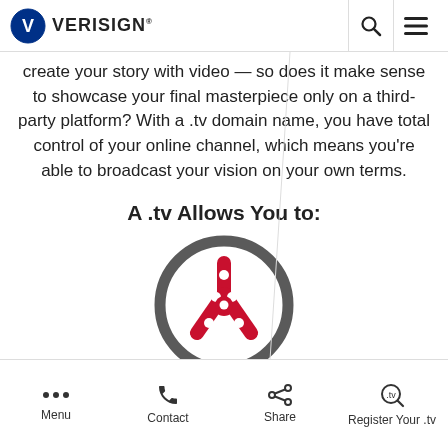VERISIGN
create your story with video — so does it make sense to showcase your final masterpiece only on a third-party platform? With a .tv domain name, you have total control of your online channel, which means you're able to broadcast your vision on your own terms.
A .tv Allows You to:
[Figure (illustration): Steering wheel icon in dark grey circle with red steering wheel graphic inside]
Be in Control
Menu  Contact  Share  Register Your .tv